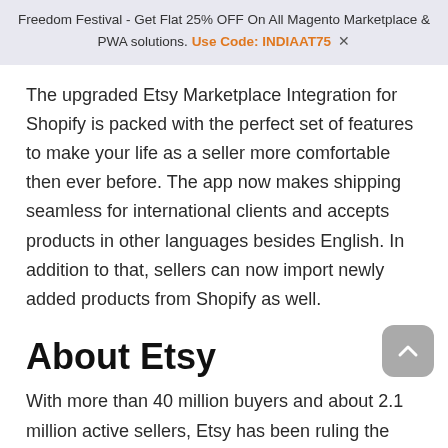Freedom Festival - Get Flat 25% OFF On All Magento Marketplace & PWA solutions. Use Code: INDIAAT75  ✕
The upgraded Etsy Marketplace Integration for Shopify is packed with the perfect set of features to make your life as a seller more comfortable then ever before. The app now makes shipping seamless for international clients and accepts products in other languages besides English. In addition to that, sellers can now import newly added products from Shopify as well.
About Etsy
With more than 40 million buyers and about 2.1 million active sellers, Etsy has been ruling the world of creativity